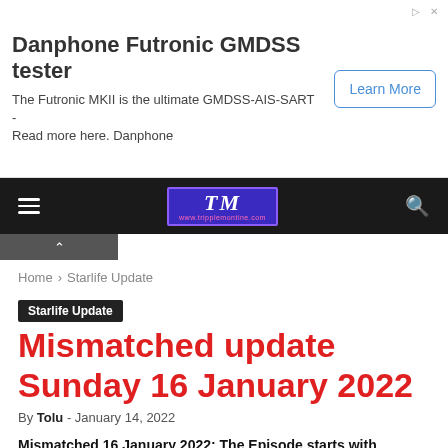[Figure (other): Advertisement banner for Danphone Futronic GMDSS tester with Learn More button]
TM (Navigation bar with hamburger menu, TM logo, and search icon)
Home › Starlife Update
Starlife Update
Mismatched update Sunday 16 January 2022
By Tolu - January 14, 2022
Mismatched 16 January 2022: The Episode starts with